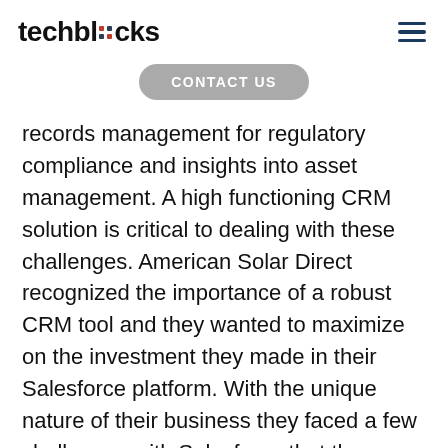techblocks
CONTACT US
records management for regulatory compliance and insights into asset management. A high functioning CRM solution is critical to dealing with these challenges. American Solar Direct recognized the importance of a robust CRM tool and they wanted to maximize on the investment they made in their Salesforce platform. With the unique nature of their business they faced a few challenges with Salesforce that they wanted to address including: